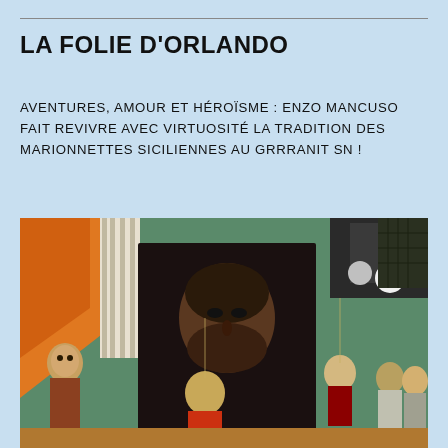LA FOLIE D'ORLANDO
AVENTURES, AMOUR ET HÉROÏSME : ENZO MANCUSO FAIT REVIVRE AVEC VIRTUOSITÉ LA TRADITION DES MARIONNETTES SICILIENNES AU GRRRANIT SN !
[Figure (photo): A bearded man's portrait displayed on a dark panel, surrounded by Sicilian puppets and theatrical props in a backstage or exhibition setting. Multiple ornate puppet figures visible on the sides.]